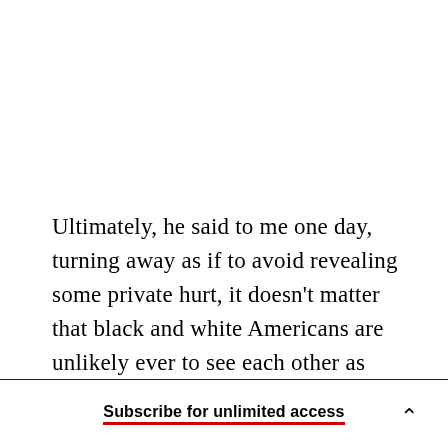Ultimately, he said to me one day, turning away as if to avoid revealing some private hurt, it doesn't matter that black and white Americans are unlikely ever to see each other as anything but blacks and whites. It doesn't matter that a black man in America is only rarely judged on the basis of his
Subscribe for unlimited access